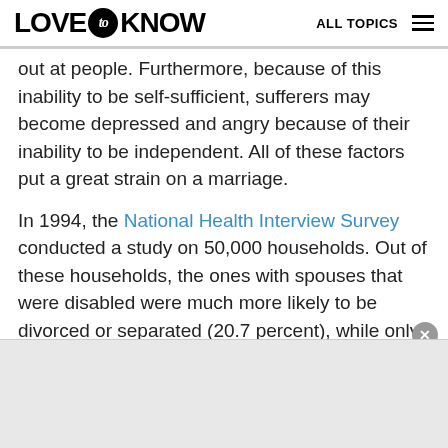LOVE to KNOW | ALL TOPICS
out at people. Furthermore, because of this inability to be self-sufficient, sufferers may become depressed and angry because of their inability to be independent. All of these factors put a great strain on a marriage.
In 1994, the National Health Interview Survey conducted a study on 50,000 households. Out of these households, the ones with spouses that were disabled were much more likely to be divorced or separated (20.7 percent), while only